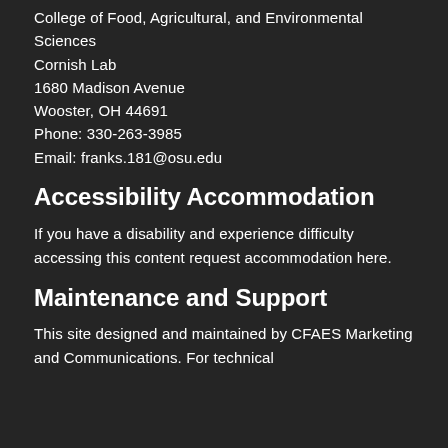College of Food, Agricultural, and Environmental Sciences
Cornish Lab
1680 Madison Avenue
Wooster, OH 44691
Phone: 330-263-3985
Email: franks.181@osu.edu
Accessibility Accommodation
If you have a disability and experience difficulty accessing this content request accommodation here.
Maintenance and Support
This site designed and maintained by CFAES Marketing and Communications. For technical